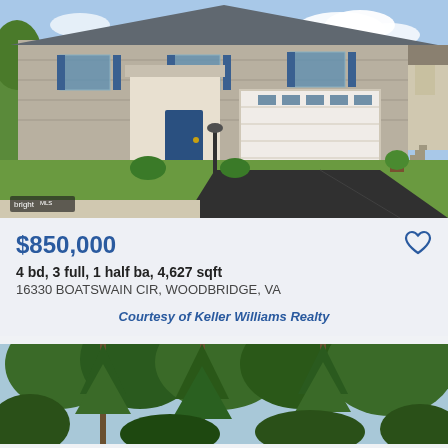[Figure (photo): Exterior photo of a two-story stone and stucco house with blue shutters, white garage door, blue front door, and black asphalt driveway. Bright MLS watermark in bottom left corner.]
$850,000
4 bd, 3 full, 1 half ba, 4,627 sqft
16330 BOATSWAIN CIR, WOODBRIDGE, VA
Courtesy of Keller Williams Realty
[Figure (photo): Exterior photo showing tall pine and deciduous trees with sky visible. Partial view of a second property listing.]